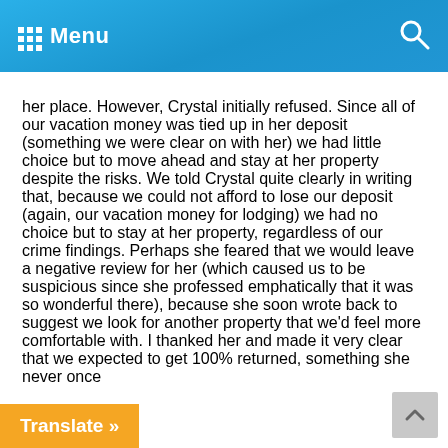Menu
her place. However, Crystal initially refused. Since all of our vacation money was tied up in her deposit (something we were clear on with her) we had little choice but to move ahead and stay at her property despite the risks. We told Crystal quite clearly in writing that, because we could not afford to lose our deposit (again, our vacation money for lodging) we had no choice but to stay at her property, regardless of our crime findings. Perhaps she feared that we would leave a negative review for her (which caused us to be suspicious since she professed emphatically that it was so wonderful there), because she soon wrote back to suggest we look for another property that we'd feel more comfortable with. I thanked her and made it very clear that we expected to get 100% returned, something she never once